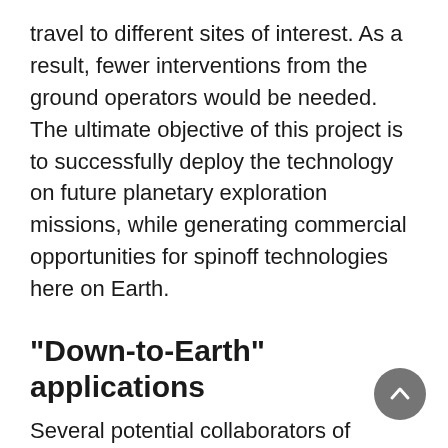travel to different sites of interest. As a result, fewer interventions from the ground operators would be needed. The ultimate objective of this project is to successfully deploy the technology on future planetary exploration missions, while generating commercial opportunities for spinoff technologies here on Earth.
"Down-to-Earth" applications
Several potential collaborators of Mission Control Space Services have expressed a